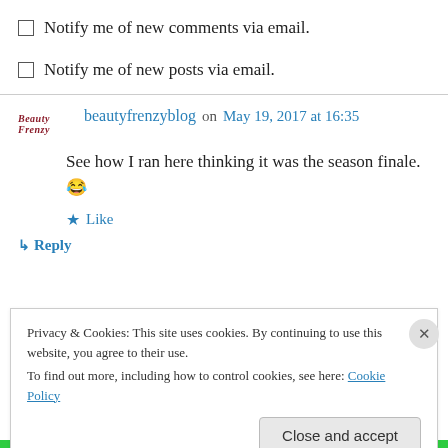Notify me of new comments via email.
Notify me of new posts via email.
beautyfrenzyblog on May 19, 2017 at 16:35
See how I ran here thinking it was the season finale. 😂
Like
Reply
Privacy & Cookies: This site uses cookies. By continuing to use this website, you agree to their use.
To find out more, including how to control cookies, see here: Cookie Policy
Close and accept